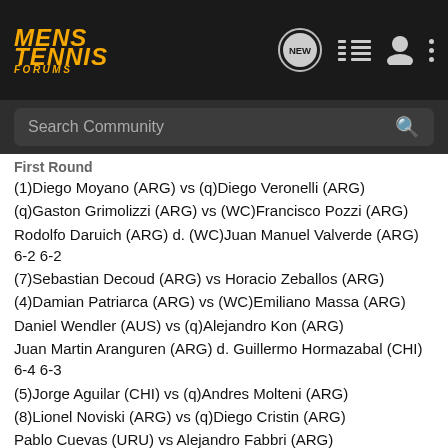Mens Tennis Forums — navigation bar with logo, NEW chat icon, list icon, user icon, more icon
Search Community
First Round
(1)Diego Moyano (ARG) vs (q)Diego Veronelli (ARG)
(q)Gaston Grimolizzi (ARG) vs (WC)Francisco Pozzi (ARG)
Rodolfo Daruich (ARG) d. (WC)Juan Manuel Valverde (ARG) 6-2 6-2
(7)Sebastian Decoud (ARG) vs Horacio Zeballos (ARG)
(4)Damian Patriarca (ARG) vs (WC)Emiliano Massa (ARG)
Daniel Wendler (AUS) vs (q)Alejandro Kon (ARG)
Juan Martin Aranguren (ARG) d. Guillermo Hormazabal (CHI) 6-4 6-3
(5)Jorge Aguilar (CHI) vs (q)Andres Molteni (ARG)
(8)Lionel Noviski (ARG) vs (q)Diego Cristin (ARG)
Pablo Cuevas (URU) vs Alejandro Fabbri (ARG)
Jonathan Gonzalia (ARG) vs Juan Pablo Amado (ARG)
(3)Agustin Tarantino (ARG) d. Martin Alund (ARG) 6-0 2-6 6-1
(6)Maximo Gonzalez (ARG) vs (q)Damian Listingart (ARG)